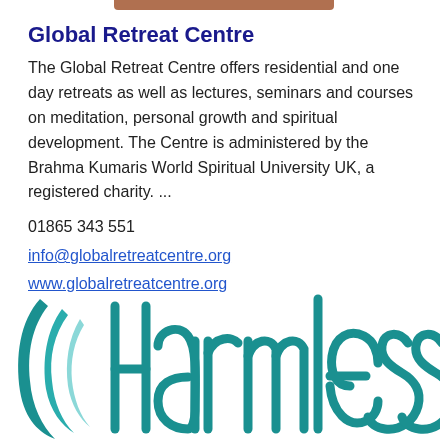Global Retreat Centre
The Global Retreat Centre offers residential and one day retreats as well as lectures, seminars and courses on meditation, personal growth and spiritual development. The Centre is administered by the Brahma Kumaris World Spiritual University UK, a registered charity. ...
01865 343 551
info@globalretreatcentre.org
www.globalretreatcentre.org
[Figure (logo): Harmless organisation logo with teal chevron marks on the left and stylised text 'harmless' in teal on the right]